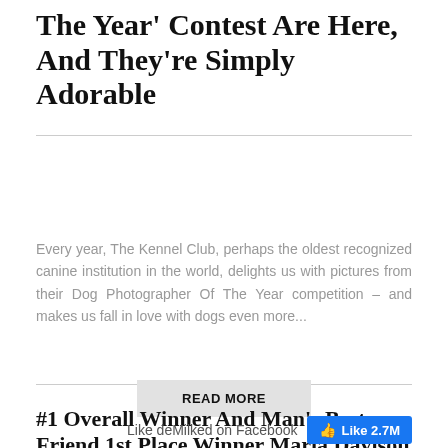The Year' Contest Are Here, And They're Simply Adorable
Every year, The Kennel Club, perhaps the oldest recognized canine institution in the world, delights us with pictures from their Dog Photographer Of The Year competition – and makes us fall in love with dogs even more...
READ MORE
#1 Overall Winner And Man's Best Friend 1st Place Winner Maria Davison Ramos, Portugal
Like deMilked on Facebook  Like 2.7M